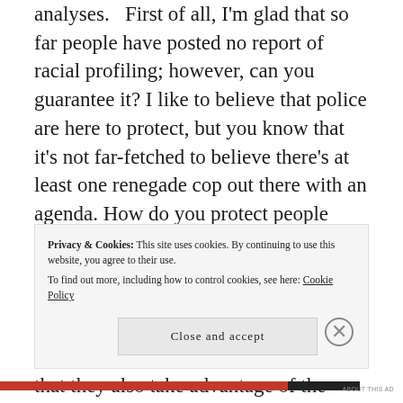analyses. First of all, I'm glad that so far people have posted no report of racial profiling; however, can you guarantee it? I like to believe that police are here to protect, but you know that it's not far-fetched to believe there's at least one renegade cop out there with an agenda. How do you protect people against that loop hole? Also, people stop interchanging the word immigrants for Mexicans — not all immigrants are Mexican! In fact, while researching the immigration law of Mexico, it turns out that they also take advantage of the Central American immigrants, and the Mayan, Pipil, and other natives in the land. I'm going off on a tangent
Privacy & Cookies: This site uses cookies. By continuing to use this website, you agree to their use.
To find out more, including how to control cookies, see here: Cookie Policy
Close and accept